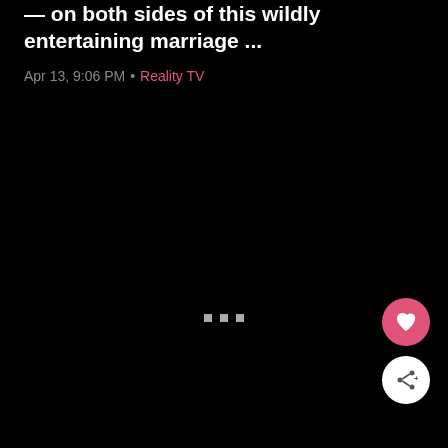— on both sides of this wildly entertaining marriage ...
Apr 13, 9:06 PM • Reality TV
[Figure (screenshot): Dark loading screen with three small grey square loading indicator dots centered in the middle of a black area]
[Figure (other): Pink circular FAB button with a heart icon]
[Figure (other): White circular FAB button with a share/send icon]